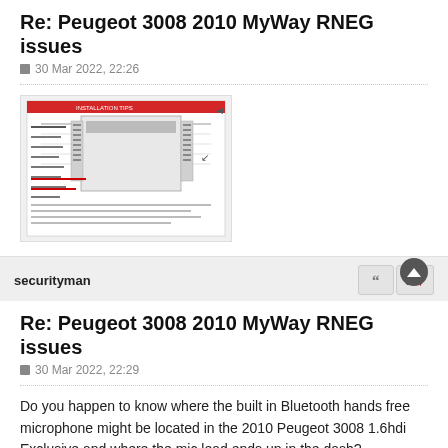Re: Peugeot 3008 2010 MyWay RNEG issues
30 Mar 2022, 22:26
[Figure (photo): Thumbnail image of a wiring diagram or technical schematic for Peugeot RNEG system]
securityman
Re: Peugeot 3008 2010 MyWay RNEG issues
30 Mar 2022, 22:29
Do you happen to know where the built in Bluetooth hands free microphone might be located in the 2010 Peugeot 3008 1.6hdi Exclusive and where the mic lead ends up in the dash?